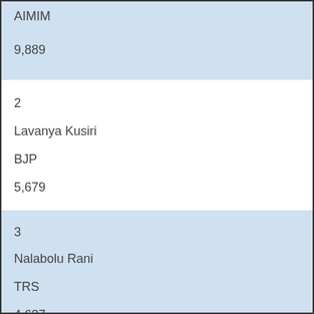| Rank | Name | Party | Votes |
| --- | --- | --- | --- |
|  | AIMIM |  | 9,889 |
| 2 | Lavanya Kusiri | BJP | 5,679 |
| 3 | Nalabolu Rani | TRS | 4,637 |